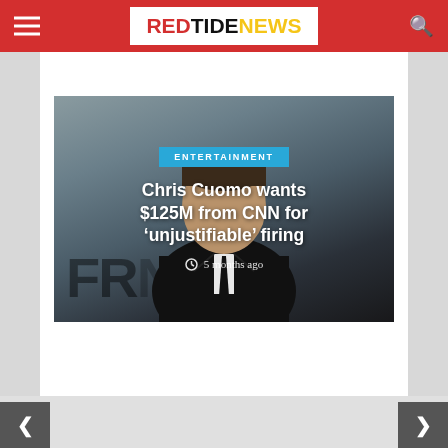RED TIDE NEWS
[Figure (photo): A man in a dark suit with a black tie, photographed against a gray background. Text 'FR...' visible in background. Overlay text shows 'ENTERTAINMENT' category tag, headline 'Chris Cuomo wants $125M from CNN for ‘unjustifiable’ firing', and timestamp '5 months ago'.]
Chris Cuomo wants $125M from CNN for ‘unjustifiable’ firing
5 months ago